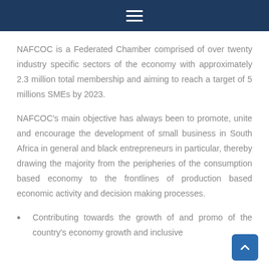Navigation menu
NAFCOC is a Federated Chamber comprised of over twenty industry specific sectors of the economy with approximately 2.3 million total membership and aiming to reach a target of 5 millions SMEs by 2023.
NAFCOC's main objective has always been to promote, unite and encourage the development of small business in South Africa in general and black entrepreneurs in particular, thereby drawing the majority from the peripheries of the consumption based economy to the frontlines of production based economic activity and decision making processes.
Contributing towards the growth of and promo of the country's economy growth and inclusive